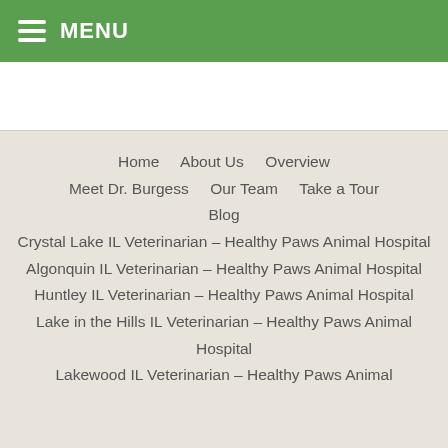≡ MENU
Home
About Us
Overview
Meet Dr. Burgess
Our Team
Take a Tour
Blog
Crystal Lake IL Veterinarian – Healthy Paws Animal Hospital
Algonquin IL Veterinarian – Healthy Paws Animal Hospital
Huntley IL Veterinarian – Healthy Paws Animal Hospital
Lake in the Hills IL Veterinarian – Healthy Paws Animal Hospital
Lakewood IL Veterinarian – Healthy Paws Animal Hospital